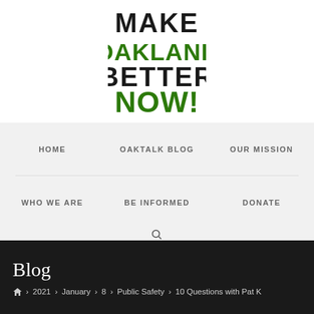[Figure (logo): Make Oakland Better Now! logo — stylized bold text with MAKE and BETTER in dark/black, OAKLAND and NOW! in green]
HOME | OAKTALK BLOG | OUR MISSION | WHO WE ARE | BE INFORMED | DONATE
Blog
🏠 > 2021 > January > 8 > Public Safety > 10 Questions with Pat K